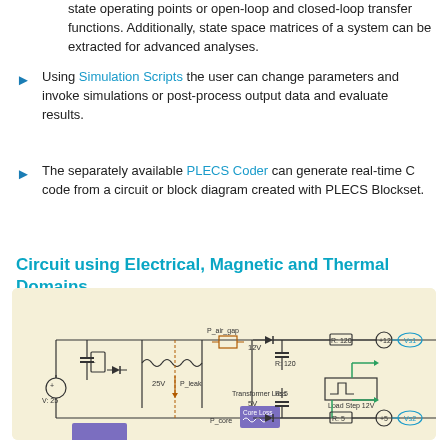state operating points or open-loop and closed-loop transfer functions. Additionally, state space matrices of a system can be extracted for advanced analyses.
Using Simulation Scripts the user can change parameters and invoke simulations or post-process output data and evaluate results.
The separately available PLECS Coder can generate real-time C code from a circuit or block diagram created with PLECS Blockset.
Circuit using Electrical, Magnetic and Thermal Domains
[Figure (engineering-diagram): PLECS circuit schematic showing electrical, magnetic and thermal domains with components including transformer, diodes, capacitors, resistors, voltage sources (V:25, 25V, 12V, 5V), labeled nodes (P_air_gap, P_leak, P_core), Core Loss block, Load Step 12V block, and output voltage sensors Vs1 and Vs2 with +12V and +5V rails.]